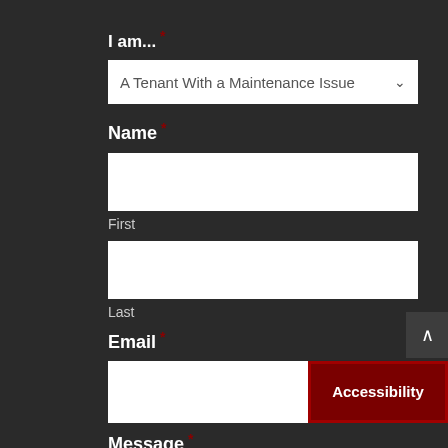I am... *
A Tenant With a Maintenance Issue
Name *
First
Last
Email *
Accessibility
Message *